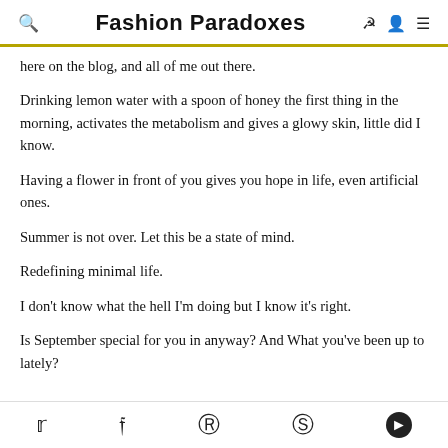Fashion Paradoxes
here on the blog, and all of me out there.
Drinking lemon water with a spoon of honey the first thing in the morning, activates the metabolism and gives a glowy skin, little did I know.
Having a flower in front of you gives you hope in life, even artificial ones.
Summer is not over. Let this be a state of mind.
Redefining minimal life.
I don't know what the hell I'm doing but I know it's right.
Is September special for you in anyway? And What you've been up to lately?
Twitter, Facebook, Pinterest, WhatsApp, Messenger icons